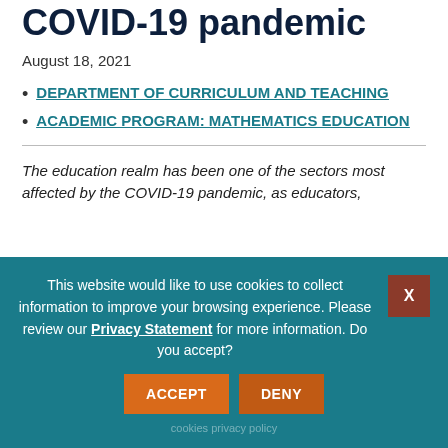COVID-19 pandemic
August 18, 2021
DEPARTMENT OF CURRICULUM AND TEACHING
ACADEMIC PROGRAM: MATHEMATICS EDUCATION
The education realm has been one of the sectors most affected by the COVID-19 pandemic, as educators,
This website would like to use cookies to collect information to improve your browsing experience. Please review our Privacy Statement for more information. Do you accept?